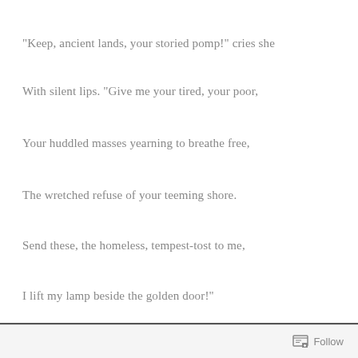“Keep, ancient lands, your storied pomp!” cries she
With silent lips. “Give me your tired, your poor,
Your huddled masses yearning to breathe free,
The wretched refuse of your teeming shore.
Send these, the homeless, tempest-tost to me,
I lift my lamp beside the golden door!”
So there is your history lesson for the day....
Follow